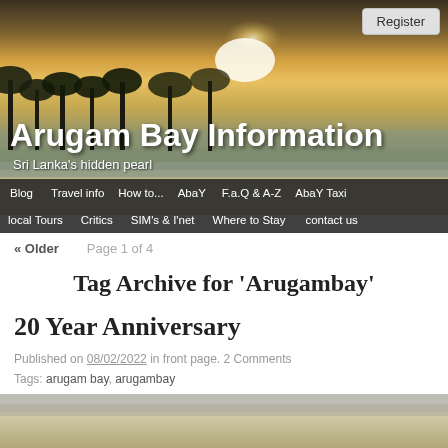[Figure (photo): Beach sunset banner photo showing coastal scene with palm trees, golden sky, and sandy beach. Used as website header background.]
Register
Arugam Bay Information
Sri Lanka's hidden pearl
Blog | Travel info | How to... | AbaY | F.a.Q & A-Z | AbaY Taxi
local Tours | Critics | SIM's & I'net | Where to Stay | contact us
« Older    Page 1 of 4
Tag Archive for 'Arugambay'
20 Year Anniversary
Published on 08/02/2022 in front page. 2 Comments
Tags: arugam bay, arugambay
[Figure (photo): Partial beach/coastal photo at the bottom of the page, showing sandy shore and water.]